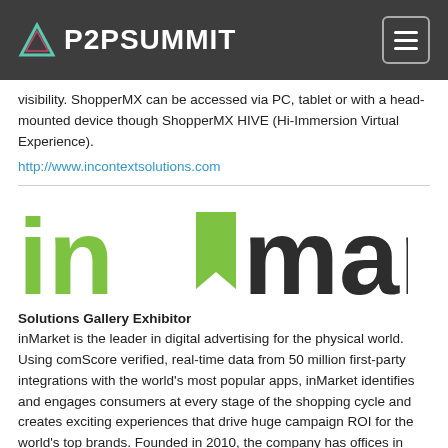P2PSUMMIT
visibility. ShopperMX can be accessed via PC, tablet or with a head-mounted device though ShopperMX HIVE (Hi-Immersion Virtual Experience).
http://www.incontextsolutions.com
[Figure (logo): inMarket logo — 'in' in green and 'market' in dark charcoal/black lettering with a green arrow/bookmark shape between the two words]
Solutions Gallery Exhibitor
inMarket is the leader in digital advertising for the physical world. Using comScore verified, real-time data from 50 million first-party integrations with the world's most popular apps, inMarket identifies and engages consumers at every stage of the shopping cycle and creates exciting experiences that drive huge campaign ROI for the world's top brands. Founded in 2010, the company has offices in New